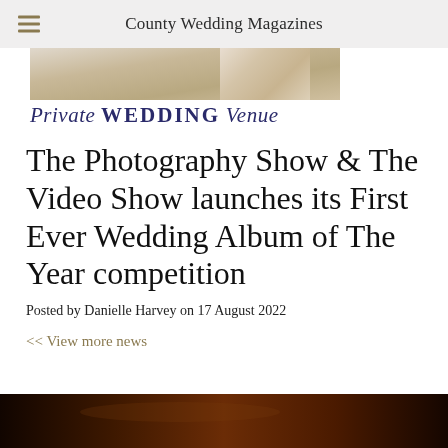County Wedding Magazines
[Figure (illustration): Banner image for Private WEDDING Venue with decorative floral background]
The Photography Show & The Video Show launches its First Ever Wedding Album of The Year competition
Posted by Danielle Harvey on 17 August 2022
<< View more news
[Figure (photo): Dark photo at bottom of page showing a warm amber/brown toned surface]